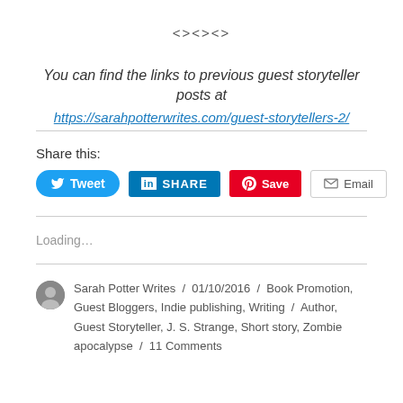<><><>
You can find the links to previous guest storyteller posts at
https://sarahpotterwrites.com/guest-storytellers-2/
Share this:
[Figure (infographic): Social share buttons: Tweet (Twitter), Share (LinkedIn), Save (Pinterest), Email]
Loading…
Sarah Potter Writes / 01/10/2016 / Book Promotion, Guest Bloggers, Indie publishing, Writing / Author, Guest Storyteller, J. S. Strange, Short story, Zombie apocalypse / 11 Comments